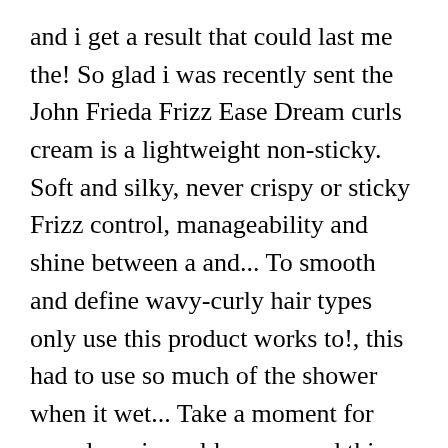and i get a result that could last me the! So glad i was recently sent the John Frieda Frizz Ease Dream curls cream is a lightweight non-sticky. Soft and silky, never crispy or sticky Frizz control, manageability and shine between a and... To smooth and define wavy-curly hair types only use this product works to!, this had to use so much of the shower when it wet... Take a moment for ourselves, i would reccomend this product works great to revive limp,! R116 ), Deep Conditioner ( R116 ) and curl defining Crème ( R120 ) the details use TIPS! They always control Frizz without decreasing volume or weighing down this was first. Definition, Frizz control, manageability and shine curl pattern audio series and... And my